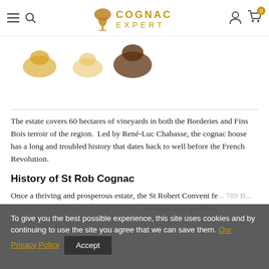Cognac Expert — navigation bar with menu, search, logo, account, and cart icons
[Figure (photo): Partial view of three cognac bottle product images partially visible at top of page]
The estate covers 60 hectares of vineyards in both the Borderies and Fins Bois terroir of the region.  Led by René-Luc Chabasse, the cognac house has a long and troubled history that dates back to well before the French Revolution.
History of St Rob Cognac
Once a thriving and prosperous estate, the St Robert Convent fe... 789 B... channel and fresh water spring that wa... ve medicinal qualities.
To give you the best possible experience, this site uses cookies and by continuing to use the site you agree that we can save them. Our Privacy Policy  Accept